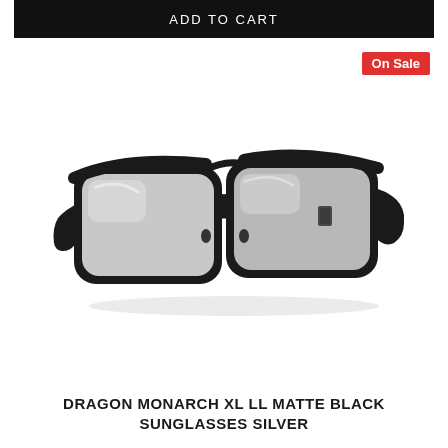ADD TO CART
On Sale
[Figure (photo): Dragon Monarch XL LL Matte Black Sunglasses with silver mirrored lenses, shown at a three-quarter angle on a white background. The frames are thick, black, and matte with wayfarer-style squared lenses.]
DRAGON MONARCH XL LL MATTE BLACK SUNGLASSES SILVER